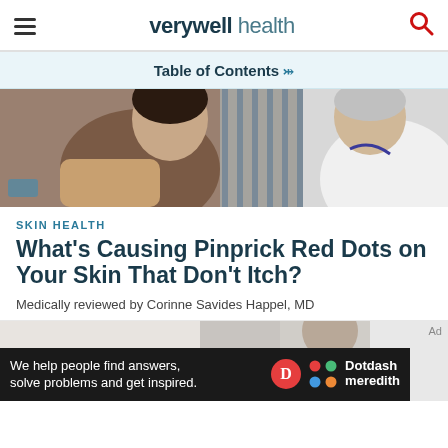verywell health
Table of Contents
[Figure (photo): A patient and doctor in a medical consultation; patient is a woman in a brown shirt looking down at her arm; doctor in white coat with stethoscope examines her arm]
SKIN HEALTH
What’s Causing Pinprick Red Dots on Your Skin That Don’t Itch?
Medically reviewed by Corinne Savides Happel, MD
[Figure (photo): Partial view of a medical office scene, cropped at bottom of page]
Ad
We help people find answers, solve problems and get inspired.
[Figure (logo): Dotdash Meredith logo with red D circle and colorful dots icon]